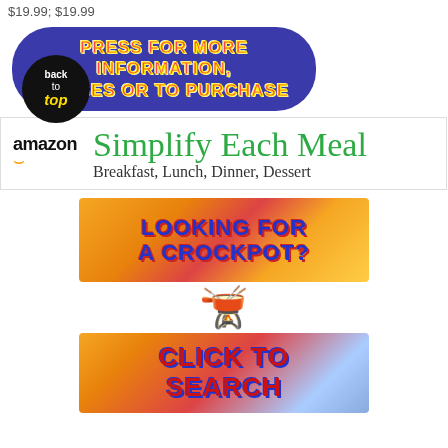$19.99; $19.99
[Figure (infographic): Dark blue rounded pill-shaped button reading PRESS FOR MORE INFORMATION, IMAGES OR TO PURCHASE in bold red/yellow text, with a black circular back-to-top badge overlapping it]
[Figure (infographic): Amazon banner with amazon logo on left, green large text Simplify Each Meal, subtext Breakfast, Lunch, Dinner, Dessert, and partial crockpot image on right]
[Figure (infographic): Looking for a crockpot? Click to search promotional banner with food background and crockpot icon]